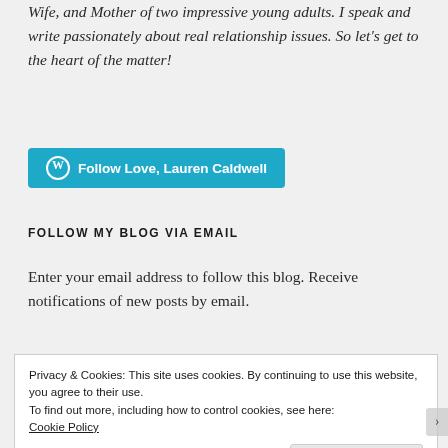Wife, and Mother of two impressive young adults. I speak and write passionately about real relationship issues. So let’s get to the heart of the matter!
[Figure (other): Teal WordPress follow button with WordPress logo icon and text 'Follow Love, Lauren Caldwell']
FOLLOW MY BLOG VIA EMAIL
Enter your email address to follow this blog. Receive notifications of new posts by email.
Privacy & Cookies: This site uses cookies. By continuing to use this website, you agree to their use.
To find out more, including how to control cookies, see here: Cookie Policy
Close and accept